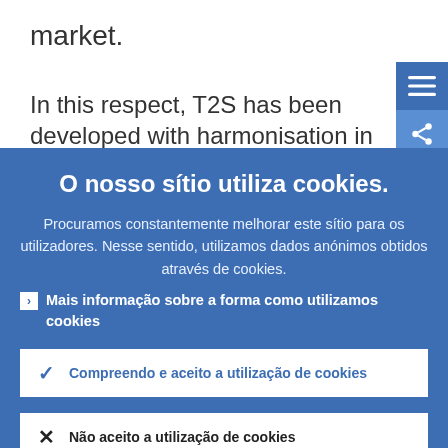market.
In this respect, T2S has been developed with harmonisation in mind. T2S will delive…
O nosso sítio utiliza cookies.
Procuramos constantemente melhorar este sítio para os utilizadores. Nesse sentido, utilizamos dados anónimos obtidos através de cookies.
Mais informação sobre a forma como utilizamos cookies
Compreendo e aceito a utilização de cookies
Não aceito a utilização de cookies